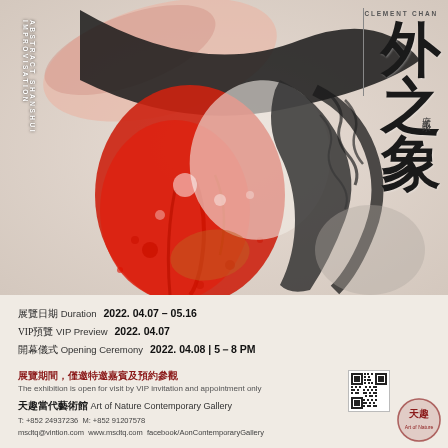[Figure (illustration): Abstract expressionist artwork with bold red, black and white brushstrokes suggesting landscape forms, displayed as exhibition poster background]
外之象
CLEMENT CHAN
府式山水
IMPROVISATION ABSTRACT SHANSHUI
展覽日期 Duration  2022. 04.07 – 05.16
VIP預覽 VIP Preview  2022. 04.07
開幕儀式 Opening Ceremony  2022. 04.08 | 5－8 PM
展覽期間，僅邀特邀嘉賓及預約參觀
The exhibition is open for visit by VIP invitation and appointment only
天趣當代藝術館 Art of Nature Contemporary Gallery
T: +852 24937236  M: +852 91207578
msdtq@vintion.com  www.msdtq.com  facebook/AonContemporaryGallery
[Figure (other): QR code for gallery contact or exhibition information]
[Figure (logo): Art of Nature Contemporary Gallery logo with Chinese characters 天趣]